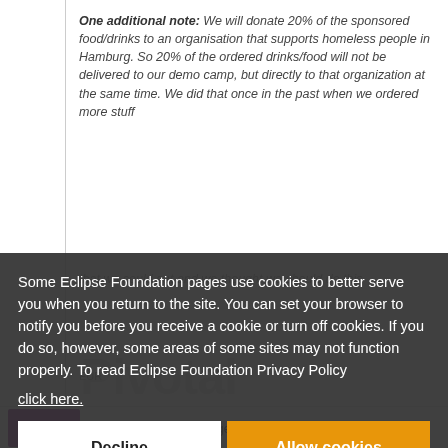One additional note: We will donate 20% of the sponsored food/drinks to an organisation that supports homeless people in Hamburg. So 20% of the ordered drinks/food will not be delivered to our demo camp, but directly to that organization at the same time. We did that once in the past when we ordered more stuff that we could eat and we thought we should do this
Some Eclipse Foundation pages use cookies to better serve you when you return to the site. You can set your browser to notify you before you receive a cookie or turn off cookies. If you do so, however, some areas of some sites may not function properly. To read Eclipse Foundation Privacy Policy click here.
Decline
Allow cookies
[Figure (logo): Zühlke Engineering logo - purple background with white text]
Zühlke Engineering is general